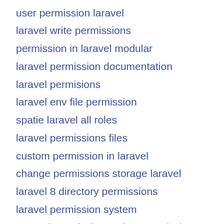user permission laravel
laravel write permissions
permission in laravel modular
laravel permission documentation
laravel permisions
laravel env file permission
spatie laravel all roles
laravel permissions files
custom permission in laravel
change permissions storage laravel
laravel 8 directory permissions
laravel permission system
Laravel-permission update permissions
get permission user laravel